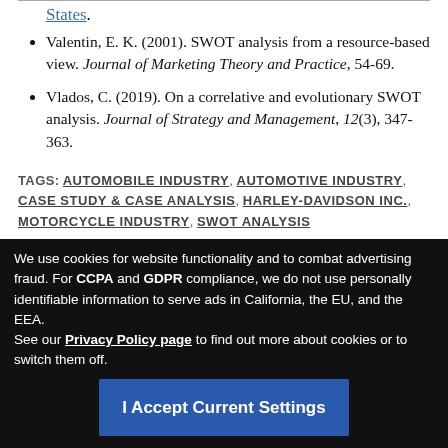States.
Valentin, E. K. (2001). SWOT analysis from a resource-based view. Journal of Marketing Theory and Practice, 54-69.
Vlados, C. (2019). On a correlative and evolutionary SWOT analysis. Journal of Strategy and Management, 12(3), 347-363.
TAGS: AUTOMOBILE INDUSTRY, AUTOMOTIVE INDUSTRY, CASE STUDY & CASE ANALYSIS, HARLEY-DAVIDSON INC., MOTORCYCLE INDUSTRY, SWOT ANALYSIS
We use cookies for website functionality and to combat advertising fraud. For CCPA and GDPR compliance, we do not use personally identifiable information to serve ads in California, the EU, and the EEA. See our Privacy Policy page to find out more about cookies or to switch them off.